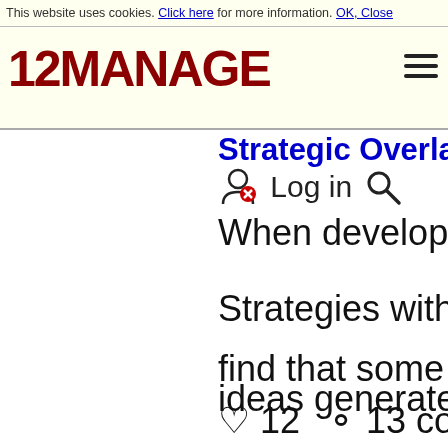This website uses cookies. Click here for more information. OK, Close
[Figure (logo): 12MANAGE logo in dark red bold text with hamburger menu icon]
Strategic Overlays
Log in
When developing B
Strategies with orga
find that some of the
ideas generated, wh
♡ 12   💬 13 comm